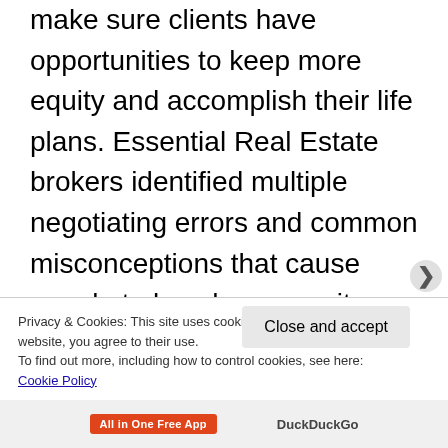make sure clients have opportunities to keep more equity and accomplish their life plans. Essential Real Estate brokers identified multiple negotiating errors and common misconceptions that cause people to lose home equity and then developed strategies to help clients wisely negotiate better terms while protecting their equity. Our clients count the difference we make for them in dollars and peace of mind.
Privacy & Cookies: This site uses cookies. By continuing to use this website, you agree to their use.
To find out more, including how to control cookies, see here: Cookie Policy